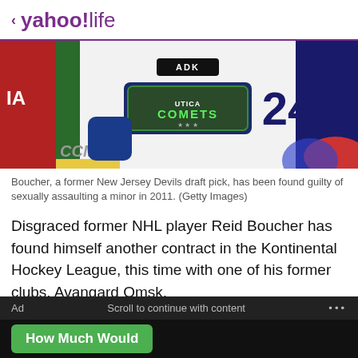< yahoo!life
[Figure (photo): Hockey player wearing a Utica Comets jersey number 24, with green and blue colors, CCM equipment visible, red puck and blue circle blurred in background]
Boucher, a former New Jersey Devils draft pick, has been found guilty of sexually assaulting a minor in 2011. (Getty Images)
Disgraced former NHL player Reid Boucher has found himself another contract in the Kontinental Hockey League, this time with one of his former clubs, Avangard Omsk.
On Monday, Avangard announced it's signed Boucher to a one-year contract that'll begin in the 2022-23 season.
Ad   Scroll to continue with content   ...
How Much Would